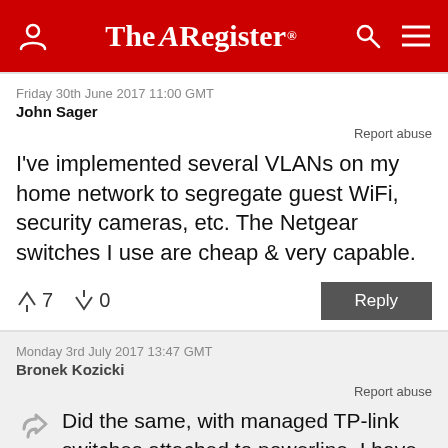The Register
Friday 30th June 2017 11:00 GMT
John Sager
Report abuse
I've implemented several VLANs on my home network to segregate guest WiFi, security cameras, etc. The Netgear switches I use are cheap & very capable.
↑7  ↓0   Reply
Monday 3rd July 2017 13:47 GMT
Bronek Kozicki
Report abuse
Did the same, with managed TP-link switches attached to powerline. I have particular fondness for 5-port ones, which are perfect in the role of serving access ports from the powerline adapter. The VLAN-tagged trunk, as you can guess, is the